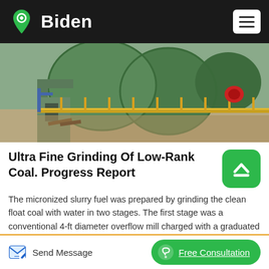Biden
[Figure (photo): Industrial coal grinding facility showing large green rotating mill drums and machinery on a platform with yellow railings]
Ultra Fine Grinding Of Low-Rank Coal. Progress Report
The micronized slurry fuel was prepared by grinding the clean float coal with water in two stages. The first stage was a conventional 4-ft diameter overflow mill charged with a graduated load of 2-inch and smaller steel balls. The grinding was at about 44% solids with sufficient Diamond Shamrock A-23 dispersant added to provide fluidity.
Send Message | Free Consultation